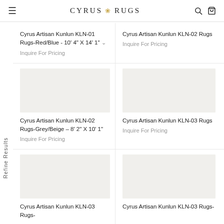CYRUS RUGS
Refine Results
Cyrus Artisan Kunlun KLN-01 Rugs-Red/Blue - 10' 4" X 14' 1"
Inquire For Pricing
Cyrus Artisan Kunlun KLN-02 Rugs
Inquire For Pricing
Cyrus Artisan Kunlun KLN-02 Rugs-Grey/Beige - 8' 2" X 10' 1"
Inquire For Pricing
Cyrus Artisan Kunlun KLN-03 Rugs
Inquire For Pricing
Cyrus Artisan Kunlun KLN-03 Rugs-
Cyrus Artisan Kunlun KLN-03 Rugs-